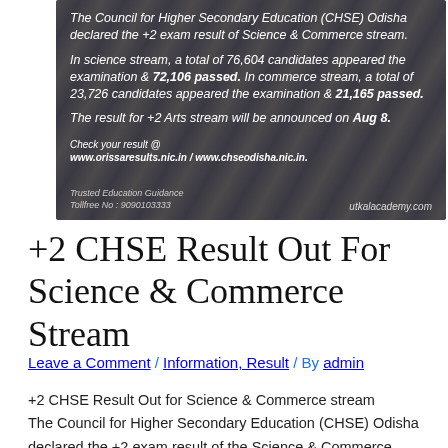[Figure (photo): Dark banner image with white italic text over a blurred background of a hand writing with a pen. Text describes CHSE Odisha +2 exam results for Science and Commerce streams, with result check URLs. Footer shows Trusted Education Guidance, Tollfree No: 9090103333, and utkalacademy.com.]
+2 CHSE Result Out For Science & Commerce Stream
Leave a Comment / Information, Result / By admin
+2 CHSE Result Out for Science & Commerce stream
The Council for Higher Secondary Education (CHSE) Odisha
declared the +2 exam result of the Science & Commerce stream.
In the science stream, a total of 76,604 candidates appeared for